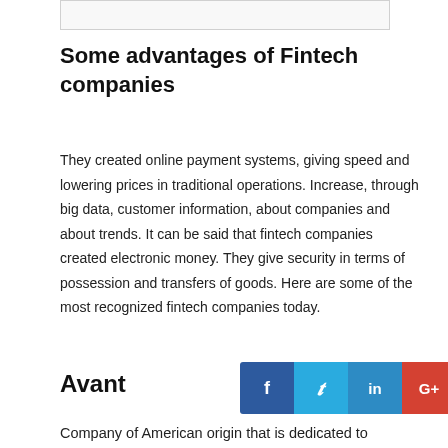[Figure (other): Partial image/logo cropped at top of page]
Some advantages of Fintech companies
They created online payment systems, giving speed and lowering prices in traditional operations. Increase, through big data, customer information, about companies and about trends. It can be said that fintech companies created electronic money. They give security in terms of possession and transfers of goods. Here are some of the most recognized fintech companies today.
Avant
[Figure (infographic): Social media share buttons: Facebook, Twitter, LinkedIn, Google+, Pinterest]
Company of American origin that is dedicated to